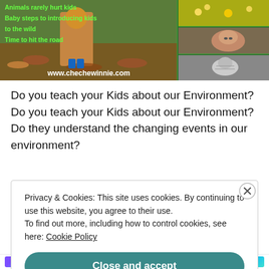[Figure (illustration): A composite blog header image with green background. Left side shows a child in an orange jacket playing in autumn leaves. Right side shows three animal thumbnails (flowers/hedgehog, pig/boar, cat). Green text overlay reads: 'Animals rarely hurt kids', 'Baby steps to introducing kids to the wild', 'Time to hit the road'. Bottom URL: www.chechewinnie.com]
Do you teach your Kids about our Environment? Do you teach your Kids about our Environment? Do they understand the changing events in our environment?
How do they handle waste management in the house?
Privacy & Cookies: This site uses cookies. By continuing to use this website, you agree to their use.
To find out more, including how to control cookies, see here: Cookie Policy
Close and accept